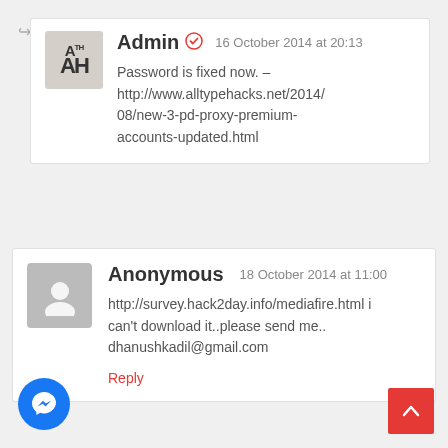[Figure (screenshot): Reply arrow icon indicating nested comment]
Admin  16 October 2014 at 20:13
Password is fixed now. – http://www.alltypehacks.net/2014/08/new-3-pd-proxy-premium-accounts-updated.html
Anonymous  18 October 2014 at 11:00
http://survey.hack2day.info/mediafire.html i can't download it..please send me.. dhanushkadil@gmail.com
Reply